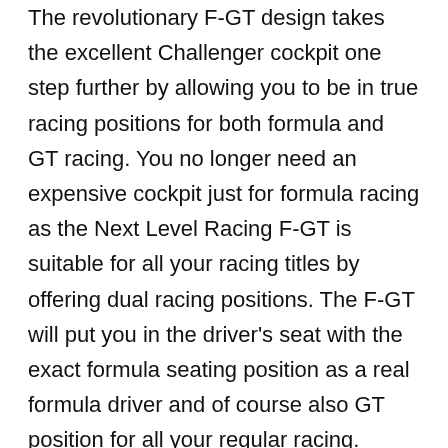The revolutionary F-GT design takes the excellent Challenger cockpit one step further by allowing you to be in true racing positions for both formula and GT racing. You no longer need an expensive cockpit just for formula racing as the Next Level Racing F-GT is suitable for all your racing titles by offering dual racing positions. The F-GT will put you in the driver's seat with the exact formula seating position as a real formula driver and of course also GT position for all your regular racing.
The patented design of the Next Level Racing® F-GT ensures a rigid and solid cockpit but also many adjustments meaning you have your wheel, pedals and gear shifter in the best position to suit you as the driver. The steering wheel support is solid enough for professional direct drive steering wheels and the rigid design of the pedal plate ensures you have a solid racing